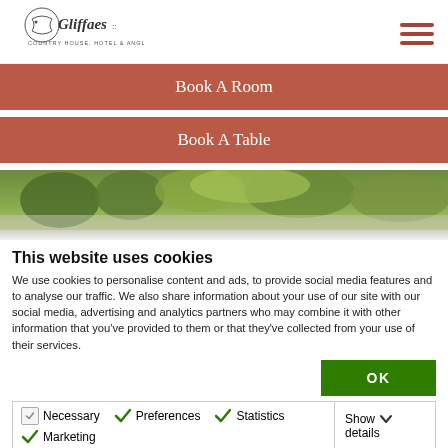[Figure (logo): Gliffaes Country House Hotel & Angling logo with fish illustration]
Book A Room
Book A Table
[Figure (photo): Aerial photograph of green trees and grounds]
This website uses cookies
We use cookies to personalise content and ads, to provide social media features and to analyse our traffic. We also share information about your use of our site with our social media, advertising and analytics partners who may combine it with other information that you've provided to them or that they've collected from your use of their services.
OK
Necessary  Preferences  Statistics  Marketing  Show details